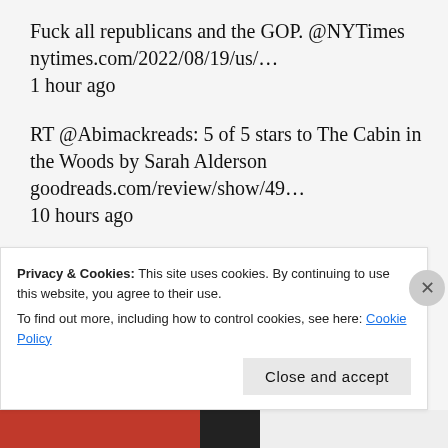Fuck all republicans and the GOP. @NYTimes nytimes.com/2022/08/19/us/… 1 hour ago
RT @Abimackreads: 5 of 5 stars to The Cabin in the Woods by Sarah Alderson goodreads.com/review/show/49… 10 hours ago
my daughter just told me that I remind her of the mom in Gilmore
Privacy & Cookies: This site uses cookies. By continuing to use this website, you agree to their use. To find out more, including how to control cookies, see here: Cookie Policy
Close and accept